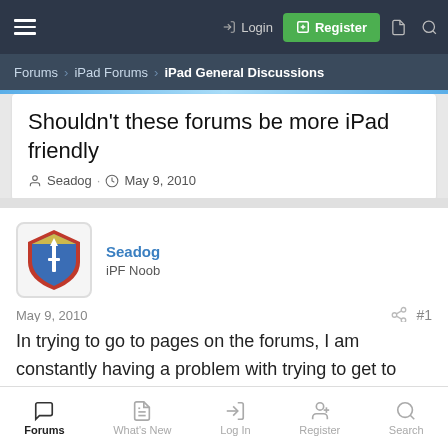Login · Register
Forums > iPad Forums > iPad General Discussions
Shouldn't these forums be more iPad friendly
Seadog · May 9, 2010
Seadog
iPF Noob
May 9, 2010  #1
In trying to go to pages on the forums, I am constantly having a problem with trying to get to page 2-20 because of the lack of finger room. So I get the post starter's profile, or page one. I
Forums · What's New · Log In · Register · Search